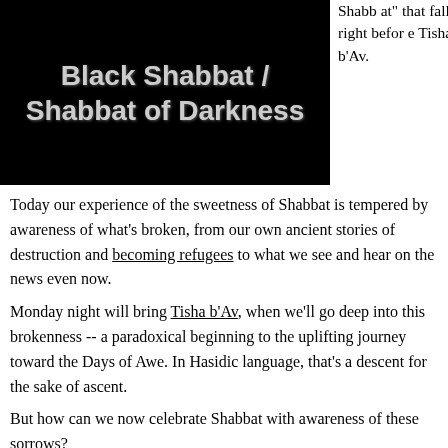[Figure (illustration): Black background image with stylized gray text reading 'Black Shabbat / Shabbat of Darkness' in a bold, distressed font]
Shabbat" that falls right before Tisha b'Av.
Today our experience of the sweetness of Shabbat is tempered by awareness of what's broken, from our own ancient stories of destruction and becoming refugees to what we see and hear on the news even now.
Monday night will bring Tisha b'Av, when we'll go deep into this brokenness -- a paradoxical beginning to the uplifting journey toward the Days of Awe. In Hasidic language, that's a descent for the sake of ascent.
But how can we now celebrate Shabbat with awareness of these sorrows?